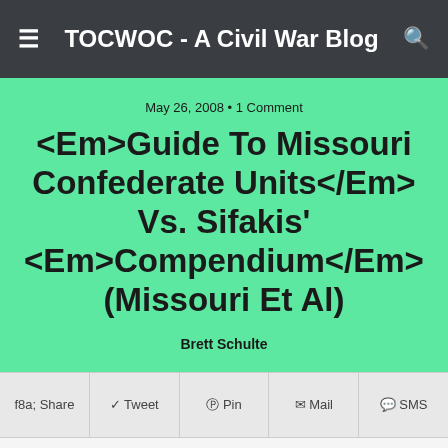TOCWOC - A Civil War Blog
May 26, 2008 • 1 Comment
<Em>Guide To Missouri Confederate Units</Em> Vs. Sifakis' <Em>Compendium</Em> (Missouri Et Al)
Brett Schulte
Share  Tweet  Pin  Mail  SMS
[Figure (photo): Thumbnail image of a book titled Guide to Missouri Confederate Units with a dark gray cover]